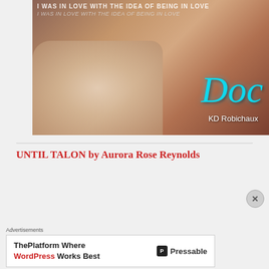[Figure (photo): Book cover for 'Doc' by KD Robichaux. Shows a close-up of intertwined bodies on white pillows with the title 'Doc' in large blue cursive font and author name 'KD Robichaux' in white. Top text reads 'I WAS IN LOVE WITH THE IDEA OF BEING IN LOVE' in bold white and italic script.]
UNTIL TALON by Aurora Rose Reynolds
[Figure (photo): Partial book cover for 'Until Talon' by Aurora Rose Reynolds. Shows a romantic close-up of a couple, man and woman in an intimate pose.]
Advertisements
[Figure (other): Advertisement banner: 'ThePlatform Where WordPress Works Best' with Pressable logo.]